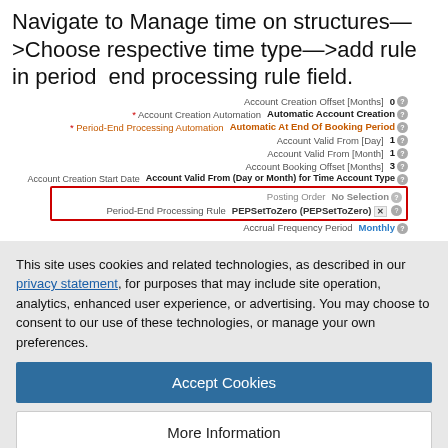Navigate to Manage time on structures—>Choose respective time type—>add rule in period end processing rule field.
[Figure (screenshot): Form screenshot showing fields: Account Creation Offset (Months): 0, Account Creation Automation: Automatic Account Creation, Period-End Processing Automation: Automatic At End Of Booking Period, Account Valid From (Day): 1, Account Valid From (Month): 1, Account Booking Offset (Months): 3, Account Creation Start Date: Account Valid From (Day or Month) for Time Account Type, Posting Order: No Selection, Period-End Processing Rule: PEPSetToZero (PEPSetToZero) [highlighted in red box], Accrual Frequency Period: Monthly]
This site uses cookies and related technologies, as described in our privacy statement, for purposes that may include site operation, analytics, enhanced user experience, or advertising. You may choose to consent to our use of these technologies, or manage your own preferences.
Accept Cookies
More Information
Privacy Policy | Powered by: TrustArc
the results.Logs can be downloaded from monitor job page